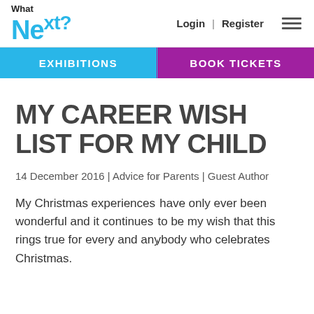What Next? | Login | Register
EXHIBITIONS | BOOK TICKETS
MY CAREER WISH LIST FOR MY CHILD
14 December 2016 | Advice for Parents | Guest Author
My Christmas experiences have only ever been wonderful and it continues to be my wish that this rings true for every and anybody who celebrates Christmas.